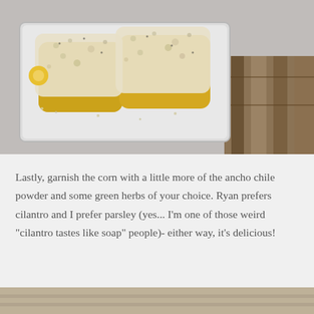[Figure (photo): Elote-style corn on the cob pieces coated in white crumbly cheese on a white square plate, on a concrete surface with wooden boards visible in the background.]
Lastly, garnish the corn with a little more of the ancho chile powder and some green herbs of your choice. Ryan prefers cilantro and I prefer parsley (yes... I'm one of those weird "cilantro tastes like soap" people)- either way, it's delicious!
[Figure (photo): Partial view of another food photo at the bottom of the page.]